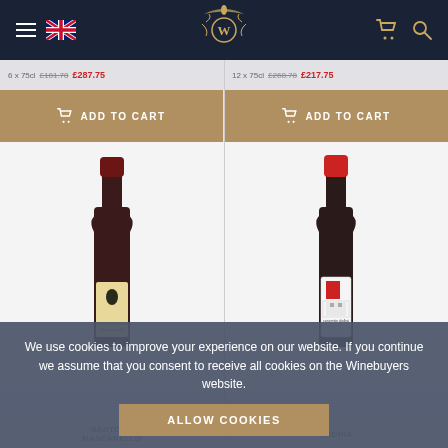Winebuyers navigation bar with hamburger menu, UK flag, logo, cart icon, search icon
6 x 75cl  £181.78 £287.75
12 x 75cl  £268.78 £217.75
ADD TO CART
ADD TO CART
[Figure (photo): Wine bottle - Dolcetto d'Alba with illustrated label showing a figure with animals]
[Figure (photo): Wine bottle - Concentin Dolbsi with modern red and white label]
We use cookies to improve your experience on our website. If you continue we assume that you consent to receive all cookies on the Winebuyers website.
ALLOW COOKIES
BARTOLO MASCARELLO
ANDRIA